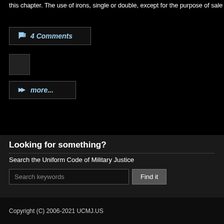this chapter. The use of irons, single or double, except for the purpose of sale
4 Comments
[Figure (other): Small avatar placeholder box]
more...
Looking for something?
Search the Uniform Code of Military Justice
Search keywords
Find it
Copyright (C) 2006-2021 UCMJ.US